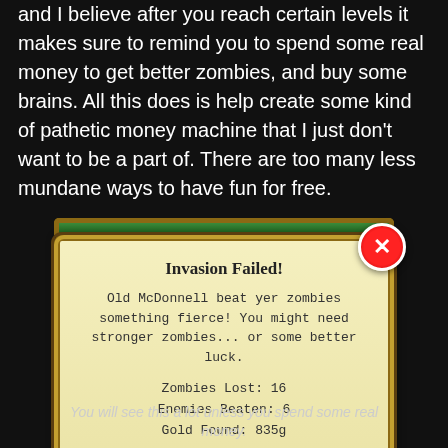and I believe after you reach certain levels it makes sure to remind you to spend some real money to get better zombies, and buy some brains. All this does is help create some kind of pathetic money machine that I just don't want to be a part of. There are too many less mundane ways to have fun for free.
[Figure (screenshot): Game dialog box titled 'Invasion Failed!' with message 'Old McDonnell beat yer zombies something fierce! You might need stronger zombies... or some better luck.' Stats: Zombies Lost: 16, Enemies Beaten: 6, Gold Found: 835g. Red X close button top right, green checkmark OK button at bottom.]
You will see this a lot unless you spend some real money.